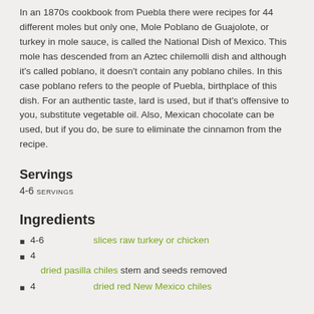In an 1870s cookbook from Puebla there were recipes for 44 different moles but only one, Mole Poblano de Guajolote, or turkey in mole sauce, is called the National Dish of Mexico. This mole has descended from an Aztec chilemolli dish and although it's called poblano, it doesn't contain any poblano chiles. In this case poblano refers to the people of Puebla, birthplace of this dish. For an authentic taste, lard is used, but if that's offensive to you, substitute vegetable oil. Also, Mexican chocolate can be used, but if you do, be sure to eliminate the cinnamon from the recipe.
Servings
4-6 SERVINGS
Ingredients
4-6  slices raw turkey or chicken
4  dried pasilla chiles stem and seeds removed
4  dried red New Mexico chiles